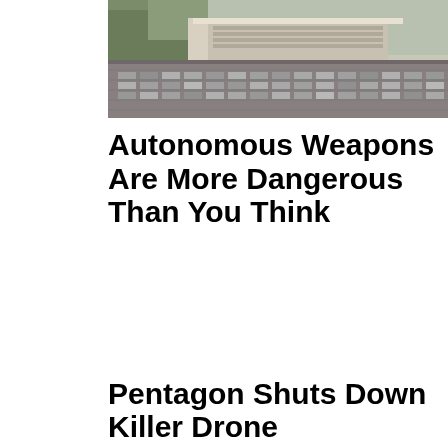[Figure (photo): Aerial or elevated view of the Pentagon building with parking lots and surrounding grounds visible]
Autonomous Weapons Are More Dangerous Than You Think
Pentagon Shuts Down Killer Drone